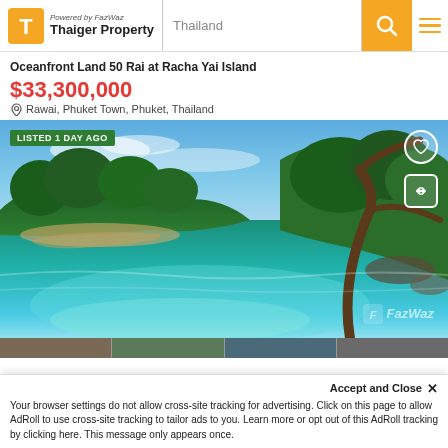Powered by FazWaz | Thaiger Property | Thailand
Oceanfront Land 50 Rai at Racha Yai Island
$33,300,000
Rawai, Phuket Town, Phuket, Thailand
[Figure (photo): Aerial/ground-level photo of a tropical island cove with turquoise water, white sand beach and dense green tropical trees. Badge: LISTED 1 DAY AGO. FazWaz watermark at bottom right.]
Accept and Close ×
Your browser settings do not allow cross-site tracking for advertising. Click on this page to allow AdRoll to use cross-site tracking to tailor ads to you. Learn more or opt out of this AdRoll tracking by clicking here. This message only appears once.